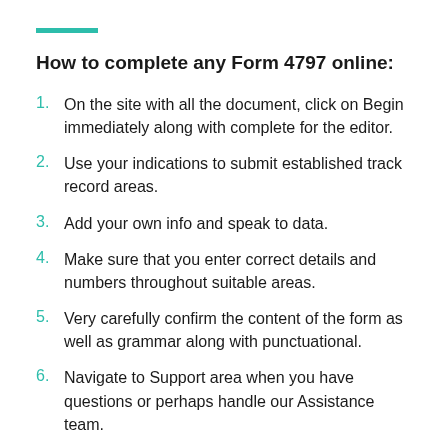How to complete any Form 4797 online:
On the site with all the document, click on Begin immediately along with complete for the editor.
Use your indications to submit established track record areas.
Add your own info and speak to data.
Make sure that you enter correct details and numbers throughout suitable areas.
Very carefully confirm the content of the form as well as grammar along with punctuational.
Navigate to Support area when you have questions or perhaps handle our Assistance team.